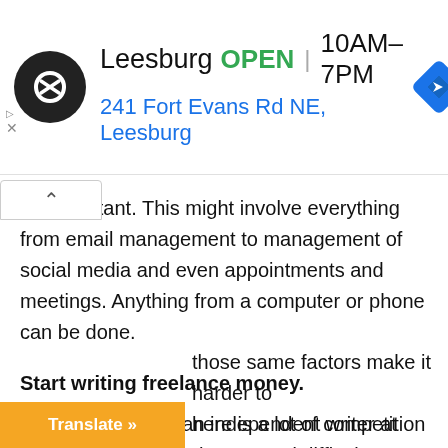[Figure (screenshot): Advertisement banner for a store in Leesburg showing logo, OPEN status, hours 10AM-7PM, address 241 Fort Evans Rd NE Leesburg, and navigation icon]
ual assistant. This might involve everything from email management to management of social media and even appointments and meetings. Anything from a computer or phone can be done.
Start writing freelance money.
Making money as an independent writer at the same time is both easy and difficult. It's pretty easy in the sense that everyone can do it, the entry barrier is low, and no special equipment is required.
those same factors make it harder to here is a lot of competition